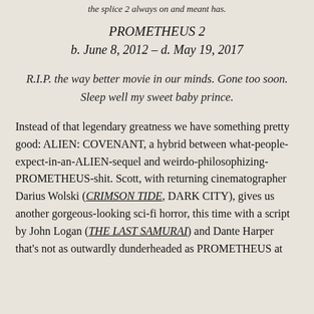the splice 2 always on and meant has.
PROMETHEUS 2
b. June 8, 2012 – d. May 19, 2017
R.I.P. the way better movie in our minds. Gone too soon. Sleep well my sweet baby prince.
Instead of that legendary greatness we have something pretty good: ALIEN: COVENANT, a hybrid between what-people-expect-in-an-ALIEN-sequel and weirdo-philosophizing-PROMETHEUS-shit. Scott, with returning cinematographer Darius Wolski (CRIMSON TIDE, DARK CITY), gives us another gorgeous-looking sci-fi horror, this time with a script by John Logan (THE LAST SAMURAI) and Dante Harper that's not as outwardly dunderheaded as PROMETHEUS at